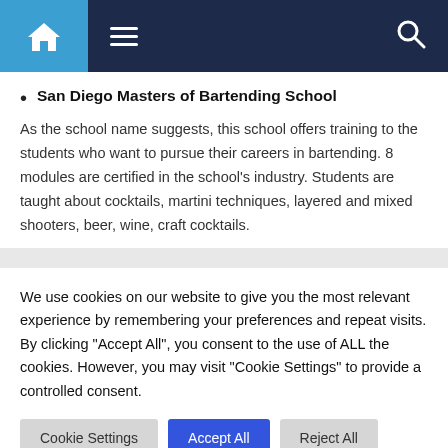Navigation bar with home, menu, and search icons
San Diego Masters of Bartending School
As the school name suggests, this school offers training to the students who want to pursue their careers in bartending. 8 modules are certified in the school's industry. Students are taught about cocktails, martini techniques, layered and mixed shooters, beer, wine, craft cocktails.
We use cookies on our website to give you the most relevant experience by remembering your preferences and repeat visits. By clicking "Accept All", you consent to the use of ALL the cookies. However, you may visit "Cookie Settings" to provide a controlled consent.